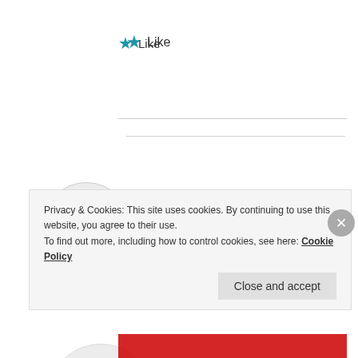★ Like
ERA
October 1, 2020 at 10:50 pm
Privacy & Cookies: This site uses cookies. By continuing to use this website, you agree to their use.
To find out more, including how to control cookies, see here: Cookie Policy
Close and accept